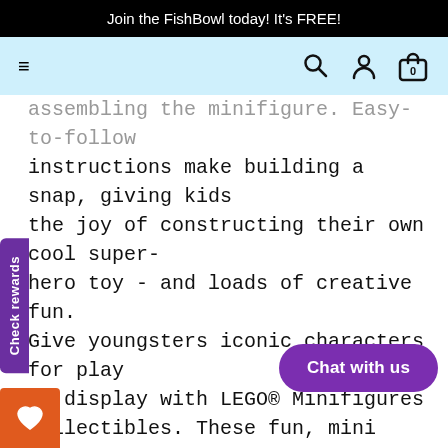Join the FishBowl today! It's FREE!
assembling the minifigure. Easy-to-follow instructions make building a snap, giving kids the joy of constructing their own cool super-hero toy - and loads of creative fun. Give youngsters iconic characters for play or display with LEGO® Minifigures collectibles. These fun, mini playsets offer open-ended play that helps build children's creativity and imagination skills.
LEGO® bricks meet the highest industry standards and quality criteria, so they are consistent, compatible and connect and come apart easily every time – and it's been that way since 1958.
At the LEGO Group, we drop, heat, crush,